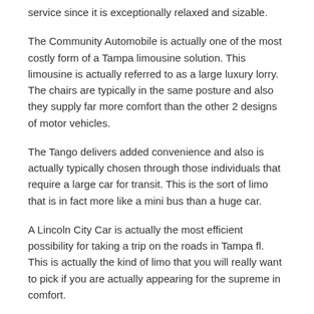service since it is exceptionally relaxed and sizable.
The Community Automobile is actually one of the most costly form of a Tampa limousine solution. This limousine is actually referred to as a large luxury lorry. The chairs are typically in the same posture and also they supply far more comfort than the other 2 designs of motor vehicles.
The Tango delivers added convenience and also is actually typically chosen through those individuals that require a large car for transit. This is the sort of limo that is in fact more like a mini bus than a huge car.
A Lincoln City Car is actually the most efficient possibility for taking a trip on the roads in Tampa fl. This is actually the kind of limo that you will really want to pick if you are actually appearing for the supreme in comfort.